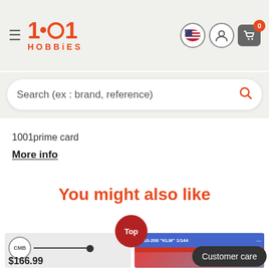[Figure (screenshot): 1001 Hobbies website header with logo, hamburger menu, flag icon, user icon, and shopping cart with badge showing 0]
Search (ex : brand, reference)
1001prime card
More info
You might also like
[Figure (screenshot): Top button (red circle with 'Top' text) and two product card thumbnails partially visible at the bottom — left card shows a CMB model airplane, right card shows an A310-200 KLM 1/144 model kit]
Customer care